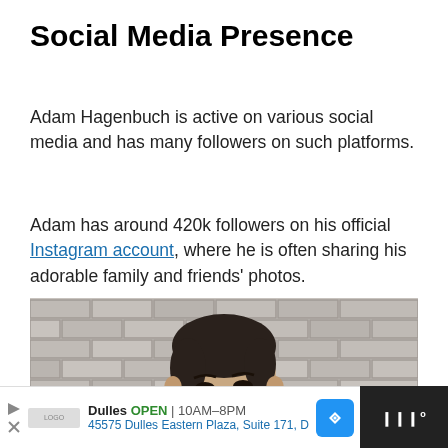Social Media Presence
Adam Hagenbuch is active on various social media and has many followers on such platforms.
Adam has around 420k followers on his official Instagram account, where he is often sharing his adorable family and friends' photos.
[Figure (photo): A photograph of Adam Hagenbuch standing in front of a brick wall, looking upward and to the side, wearing a white top.]
Dulles OPEN 10AM-8PM 45575 Dulles Eastern Plaza, Suite 171, D